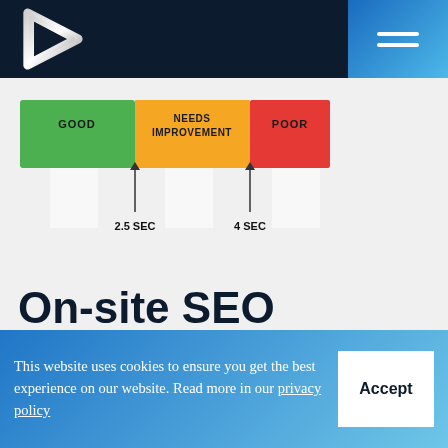[Logo] On-site SEO website header with navigation
[Figure (infographic): A horizontal bar showing three categories side by side: GOOD (green), NEEDS IMPROVEMENT (orange), POOR (red). Two arrows point upward from below: one labeled '2.5 SEC' marking the boundary between GOOD and NEEDS IMPROVEMENT, and one labeled '4 SEC' marking the boundary between NEEDS IMPROVEMENT and POOR.]
On-site SEO
Your website directly influences your on-site SEO. Google and the other search engines robots crawl
This website uses cookies to ensure you get the best experience on our website. Read more in our privacy policy